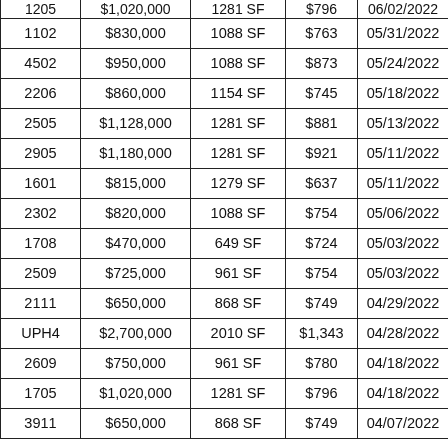| Unit | Price | Size | $/SF | Date |
| --- | --- | --- | --- | --- |
| 1205 | $1,020,000 | 1281 SF | $796 | 06/02/2022 |
| 1102 | $830,000 | 1088 SF | $763 | 05/31/2022 |
| 4502 | $950,000 | 1088 SF | $873 | 05/24/2022 |
| 2206 | $860,000 | 1154 SF | $745 | 05/18/2022 |
| 2505 | $1,128,000 | 1281 SF | $881 | 05/13/2022 |
| 2905 | $1,180,000 | 1281 SF | $921 | 05/11/2022 |
| 1601 | $815,000 | 1279 SF | $637 | 05/11/2022 |
| 2302 | $820,000 | 1088 SF | $754 | 05/06/2022 |
| 1708 | $470,000 | 649 SF | $724 | 05/03/2022 |
| 2509 | $725,000 | 961 SF | $754 | 05/03/2022 |
| 2111 | $650,000 | 868 SF | $749 | 04/29/2022 |
| UPH4 | $2,700,000 | 2010 SF | $1,343 | 04/28/2022 |
| 2609 | $750,000 | 961 SF | $780 | 04/18/2022 |
| 1705 | $1,020,000 | 1281 SF | $796 | 04/18/2022 |
| 3911 | $650,000 | 868 SF | $749 | 04/07/2022 |